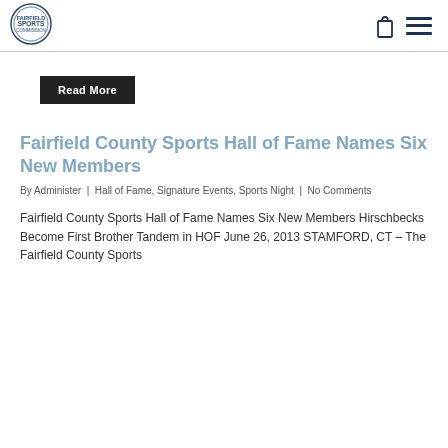Fairfield County Sports Commission logo, shopping bag icon, menu icon
Read More
Fairfield County Sports Hall of Fame Names Six New Members
By Administer | Hall of Fame, Signature Events, Sports Night | No Comments
Fairfield County Sports Hall of Fame Names Six New Members Hirschbecks Become First Brother Tandem in HOF June 26, 2013 STAMFORD, CT – The Fairfield County Sports